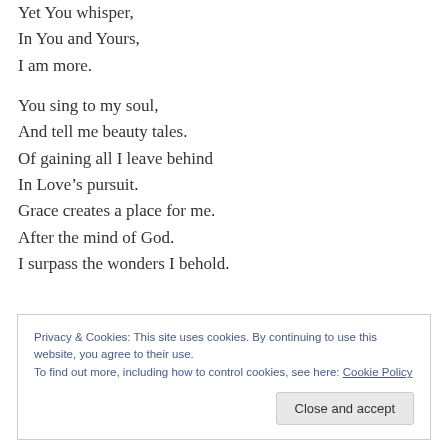Yet You whisper,
In You and Yours,
I am more.
You sing to my soul,
And tell me beauty tales.
Of gaining all I leave behind
In Love’s pursuit.
Grace creates a place for me.
After the mind of God.
I surpass the wonders I behold.
Privacy & Cookies: This site uses cookies. By continuing to use this website, you agree to their use.
To find out more, including how to control cookies, see here: Cookie Policy
Close and accept